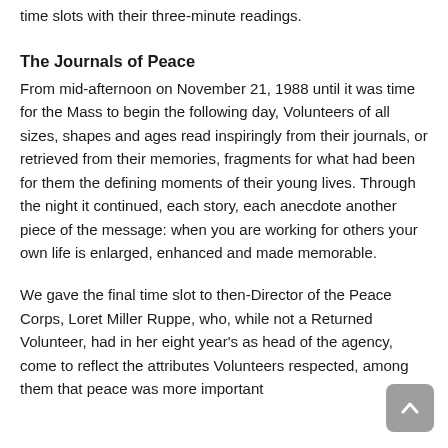time slots with their three-minute readings.
The Journals of Peace
From mid-afternoon on November 21, 1988 until it was time for the Mass to begin the following day, Volunteers of all sizes, shapes and ages read inspiringly from their journals, or retrieved from their memories, fragments for what had been for them the defining moments of their young lives. Through the night it continued, each story, each anecdote another piece of the message: when you are working for others your own life is enlarged, enhanced and made memorable.
We gave the final time slot to then-Director of the Peace Corps, Loret Miller Ruppe, who, while not a Returned Volunteer, had in her eight year's as head of the agency, come to reflect the attributes Volunteers respected, among them that peace was more important than wi...